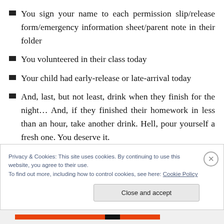You sign your name to each permission slip/release form/emergency information sheet/parent note in their folder
You volunteered in their class today
Your child had early-release or late-arrival today
And, last, but not least, drink when they finish for the night… And, if they finished their homework in less than an hour, take another drink. Hell, pour yourself a fresh one. You deserve it.
Privacy & Cookies: This site uses cookies. By continuing to use this website, you agree to their use.
To find out more, including how to control cookies, see here: Cookie Policy